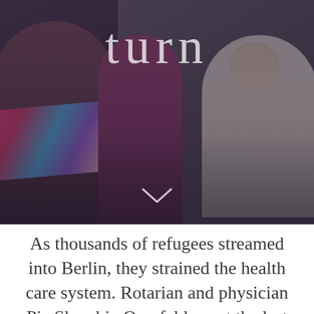[Figure (photo): Photo of three people: a woman in a colorful scarf on the left, a child in pink/red in the center, and a woman in white on the right leaning in. Dark overlay with the word 'turn' in large light text at the top center, and a downward chevron arrow at the bottom center.]
As thousands of refugees streamed into Berlin, they strained the health care system. Rotarian and physician Pia Skarabis-Querfeld spent the last three years building a network of volunteer doctors to help those in